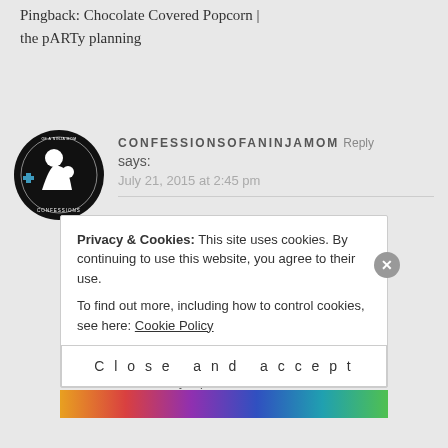Pingback: Chocolate Covered Popcorn | the pARTy planning
[Figure (logo): Circular black logo with white silhouette of a parent and child, text 'CONFESSIONS OF A NINJA MOM' around the edge]
CONFESSIONSOFANINJAMOM Reply says: July 21, 2015 at 2:45 pm
So cute! The cake turned out perfect! Thanks for sharing. #ConfessionsLinkUp
Liked by 1 person
Privacy & Cookies: This site uses cookies. By continuing to use this website, you agree to their use. To find out more, including how to control cookies, see here: Cookie Policy
Close and accept